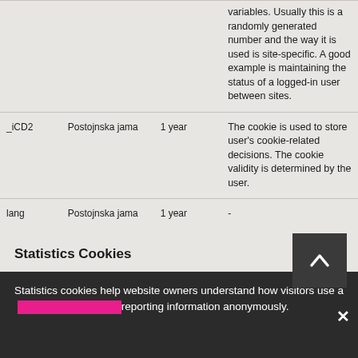| Name | Provider | Expiry | Description |
| --- | --- | --- | --- |
|  |  |  | variables. Usually this is a randomly generated number and the way it is used is site-specific. A good example is maintaining the status of a logged-in user between sites. |
| _iCD2 | Postojnska jama | 1 year | The cookie is used to store user's cookie-related decisions. The cookie validity is determined by the user. |
| lang | Postojnska jama | 1 year | - |
Statistics Cookies
Statistics cookies help website owners understand how visitors use a and interact with the website by [redacted] reporting information anonymously.